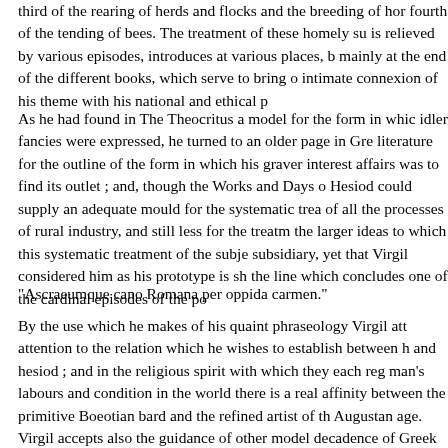third of the rearing of herds and flocks and the breeding of hor fourth of the tending of bees. The treatment of these homely su is relieved by various episodes, introduces at various places, b mainly at the end of the different books, which serve to bring o intimate connexion of his theme with his national and ethical p
As he had found in The Theocritus a model for the form in whi idler fancies were expressed, he turned to an older page in Gr literature for the outline of the form in which his graver interest affairs was to find its outlet ; and, though the Works and Days Hesiod could supply an adequate mould for the systematic trea of all the processes of rural industry, and still less for the treatm the larger ideas to which this systematic treatment of the subje subsidiary, yet that Virgil considered him as his prototype is sh the line which concludes one of the cardinal episodes of the po
"Ascraeumque cano Romana per oppida carmen."
By the use which he makes of his quaint phraseology Virgil att attention to the relation which he wishes to establish between h and hesiod ; and in the religious spirit with which they each reg man's labours and condition in the world there is a real affinity between the primitive Boeotian bard and the refined artist of th Augustan age. Virgil accepts also the guidance of other model decadence of Greek literature, the Alexandrian poets who trea